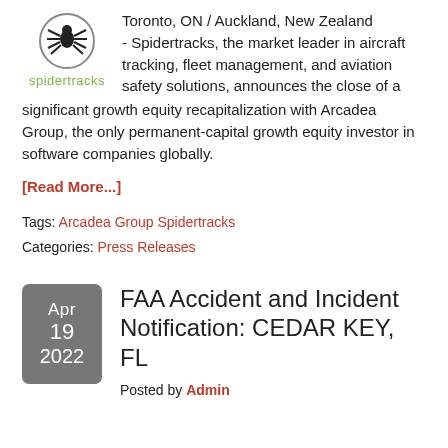[Figure (logo): Spidertracks logo: spider icon above the text 'spidertracks' in green]
Toronto, ON / Auckland, New Zealand - Spidertracks, the market leader in aircraft tracking, fleet management, and aviation safety solutions, announces the close of a significant growth equity recapitalization with Arcadea Group, the only permanent-capital growth equity investor in software companies globally.
[Read More...]
Tags: Arcadea Group Spidertracks
Categories: Press Releases
FAA Accident and Incident Notification: CEDAR KEY, FL
Posted by Admin